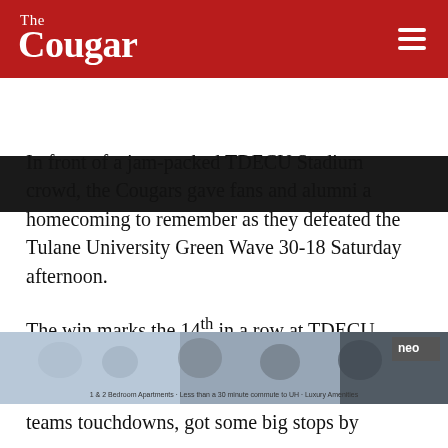The Cougar
[Figure (photo): Dark photographic image strip, partially visible at top of content area]
In front of a jam-packed TDECU Stadium crowd, the Cougars gave fans and alumni a homecoming to remember as they defeated the Tulane University Green Wave 30-18 Saturday afternoon.
The win marks the 14th in a row at TDECU Stadium, which is good for the third longest streak in the nation. With an offensive attack that featured just 221 yards passing and 22 yards rushing, football found the end zone early in the rout of Tulane.
“I am really proud of our guys,” Head coach [Tom Herman] said. “Especially the way that teams touchdowns, got some big stops by
[Figure (photo): Advertisement banner for NEO apartments: 1 & 2 Bedroom Apartments - Less than a 30 minute commute to UH - Luxury Amenities]